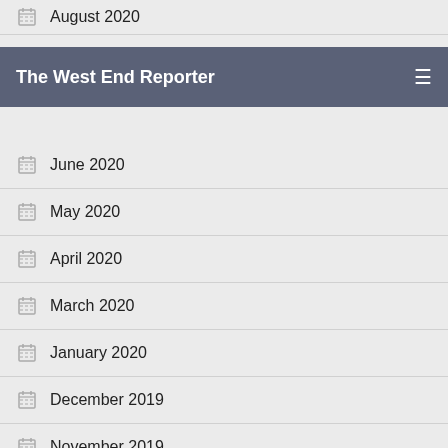The West End Reporter
August 2020
July 2020
June 2020
May 2020
April 2020
March 2020
January 2020
December 2019
November 2019
October 2019